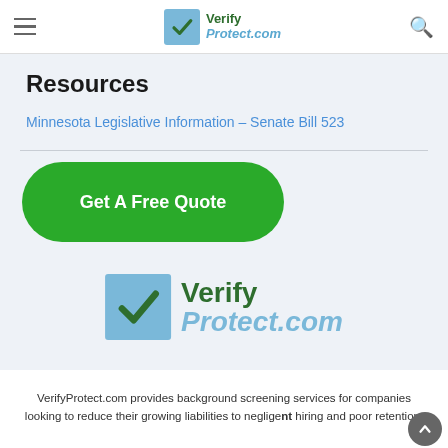VerifyProtect.com
Resources
Minnesota Legislative Information – Senate Bill 523
Get A Free Quote
[Figure (logo): VerifyProtect.com logo with blue checkbox and green/blue text]
VerifyProtect.com provides background screening services for companies looking to reduce their growing liabilities to negligent hiring and poor retention.